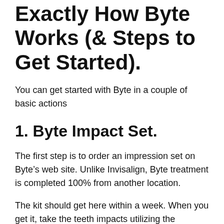Exactly How Byte Works (& Steps to Get Started).
You can get started with Byte in a couple of basic actions
1. Byte Impact Set.
The first step is to order an impression set on Byte’s web site. Unlike Invisalign, Byte treatment is completed 100% from another location.
The kit should get here within a week. When you get it, take the teeth impacts utilizing the impression tray, smile stretcher, and